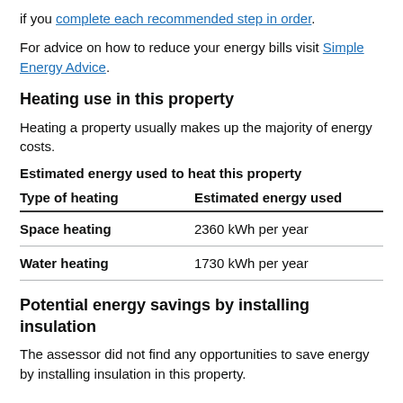if you complete each recommended step in order.
For advice on how to reduce your energy bills visit Simple Energy Advice.
Heating use in this property
Heating a property usually makes up the majority of energy costs.
Estimated energy used to heat this property
| Type of heating | Estimated energy used |
| --- | --- |
| Space heating | 2360 kWh per year |
| Water heating | 1730 kWh per year |
Potential energy savings by installing insulation
The assessor did not find any opportunities to save energy by installing insulation in this property.